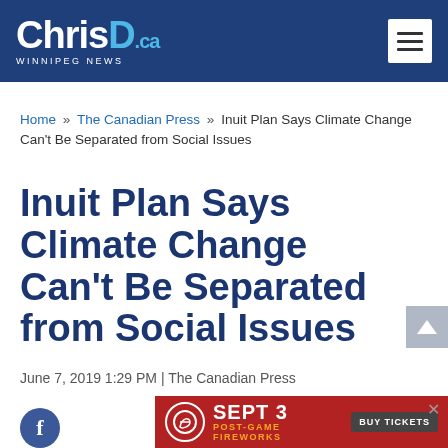ChrisD.ca WINNIPEG NEWS
Home » The Canadian Press » Inuit Plan Says Climate Change Can't Be Separated from Social Issues
Inuit Plan Says Climate Change Can't Be Separated from Social Issues
June 7, 2019 1:29 PM | The Canadian Press
[Figure (other): Red advertisement banner: SEPT 3 POST-GAME FIREWORKS BUY TICKETS]